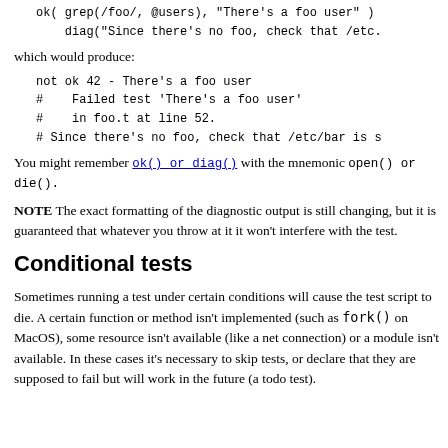ok( grep(/foo/, @users), "There's a foo user" )
    diag("Since there's no foo, check that /etc.
which would produce:
not ok 42 - There's a foo user
#    Failed test 'There's a foo user'
#    in foo.t at line 52.
# Since there's no foo, check that /etc/bar is s
You might remember ok() or diag() with the mnemonic open() or die().
NOTE The exact formatting of the diagnostic output is still changing, but it is guaranteed that whatever you throw at it it won't interfere with the test.
Conditional tests
Sometimes running a test under certain conditions will cause the test script to die. A certain function or method isn't implemented (such as fork() on MacOS), some resource isn't available (like a net connection) or a module isn't available. In these cases it's necessary to skip tests, or declare that they are supposed to fail but will work in the future (a todo test).